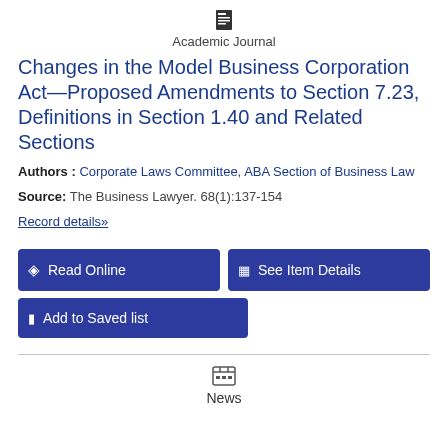Academic Journal
Changes in the Model Business Corporation Act—Proposed Amendments to Section 7.23, Definitions in Section 1.40 and Related Sections
Authors : Corporate Laws Committee, ABA Section of Business Law
Source: The Business Lawyer. 68(1):137-154
Record details»
Read Online | See Item Details | Add to Saved list
News